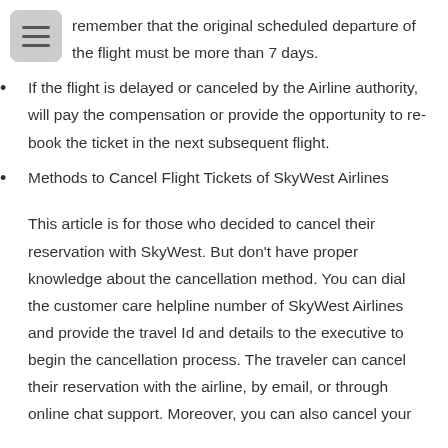remember that the original scheduled departure of the flight must be more than 7 days.
If the flight is delayed or canceled by the Airline authority, will pay the compensation or provide the opportunity to re-book the ticket in the next subsequent flight.
Methods to Cancel Flight Tickets of SkyWest Airlines
This article is for those who decided to cancel their reservation with SkyWest. But don't have proper knowledge about the cancellation method. You can dial the customer care helpline number of SkyWest Airlines and provide the travel Id and details to the executive to begin the cancellation process. The traveler can cancel their reservation with the airline, by email, or through online chat support. Moreover, you can also cancel your